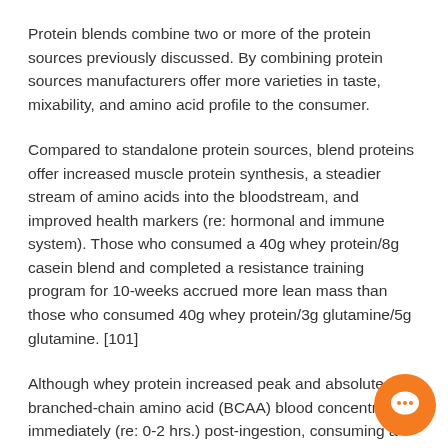Protein blends combine two or more of the protein sources previously discussed. By combining protein sources manufacturers offer more varieties in taste, mixability, and amino acid profile to the consumer.
Compared to standalone protein sources, blend proteins offer increased muscle protein synthesis, a steadier stream of amino acids into the bloodstream, and improved health markers (re: hormonal and immune system). Those who consumed a 40g whey protein/8g casein blend and completed a resistance training program for 10-weeks accrued more lean mass than those who consumed 40g whey protein/3g glutamine/5g glutamine. [101]
Although whey protein increased peak and absolute branched-chain amino acid (BCAA) blood concentrations immediately (re: 0-2 hrs.) post-ingestion, consuming a